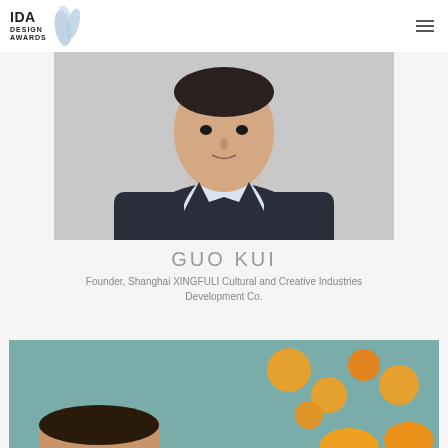[Figure (logo): IDA Design Awards logo with bird/leaf graphic in blue]
[Figure (photo): Portrait photo of Guo Kui, a man in a dark suit with light blue shirt, standing against a light grey background, cropped from chest up]
GUO KUI
Founder, Shanghai XINGFULI Cultural and Creative Industries Development Co.
[Figure (photo): Partial photo of another person, partially visible at bottom of page, with yellow/orange decorative elements in background, against teal/blue background]